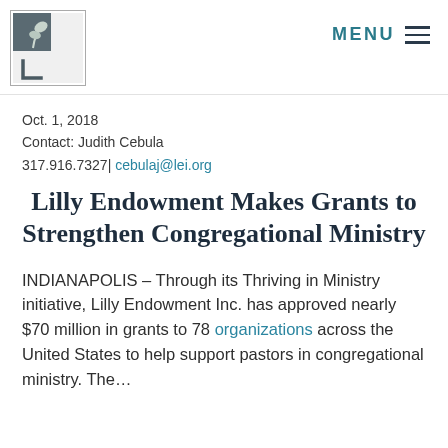[Figure (logo): Lilly Endowment logo — stylized plant/leaf with letter L in a square border]
MENU ≡
Oct. 1, 2018
Contact: Judith Cebula
317.916.7327| cebulaj@lei.org
Lilly Endowment Makes Grants to Strengthen Congregational Ministry
INDIANAPOLIS – Through its Thriving in Ministry initiative, Lilly Endowment Inc. has approved nearly $70 million in grants to 78 organizations across the United States to help support pastors in congregational ministry. The…